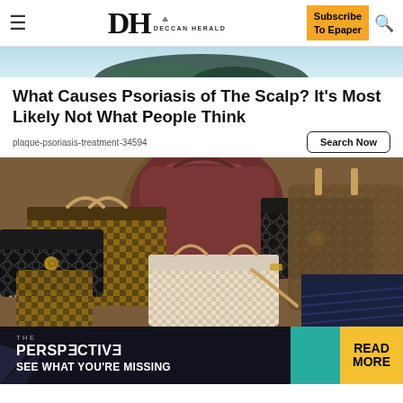DH DECCAN HERALD | Subscribe To Epaper
[Figure (photo): Partial photo of person with teal/green hair, cropped at top]
What Causes Psoriasis of The Scalp? It's Most Likely Not What People Think
plaque-psoriasis-treatment-34594
[Figure (photo): Large collection of luxury designer handbags including Louis Vuitton monogram, Chanel quilted, and other high-end bags piled together]
[Figure (infographic): Advertisement banner: THE PERSPECTIVE - SEE WHAT YOU'RE MISSING | READ MORE]